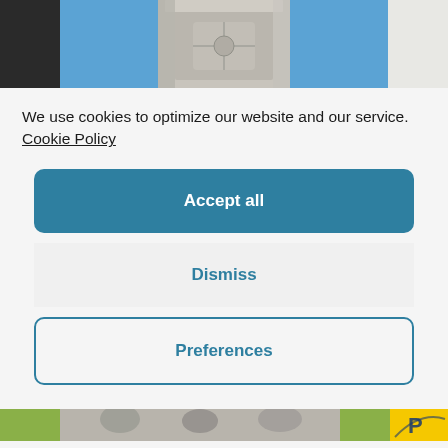[Figure (photo): Top portion of a stone monument or column with carved decorative shield/crest detail, photographed against a bright blue sky]
We use cookies to optimize our website and our service.  Cookie Policy
Accept all
Dismiss
Preferences
[Figure (photo): Bottom partial view of outdoor scene with grass and stone figures or statuary, with a yellow logo partially visible at right edge]